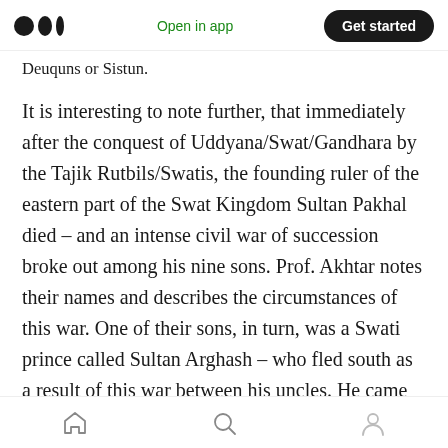Medium logo | Open in app | Get started
Deuquns or Sistun.
It is interesting to note further, that immediately after the conquest of Uddyana/Swat/Gandhara by the Tajik Rutbils/Swatis, the founding ruler of the eastern part of the Swat Kingdom Sultan Pakhal died – and an intense civil war of succession broke out among his nine sons. Prof. Akhtar notes their names and describes the circumstances of this war. One of their sons, in turn, was a Swati prince called Sultan Arghash – who fled south as a result of this war between his uncles. He came to the present day Balochistan
Home | Search | Profile